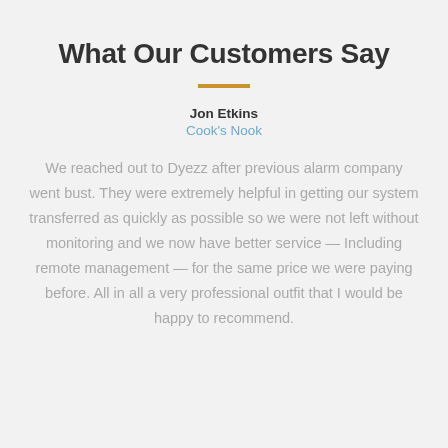What Our Customers Say
Jon Etkins
Cook's Nook
We reached out to Dyezz after previous alarm company went bust. They were extremely helpful in getting our system transferred as quickly as possible so we were not left without monitoring and we now have better service — Including remote management — for the same price we were paying before. All in all a very professional outfit that I would be happy to recommend.